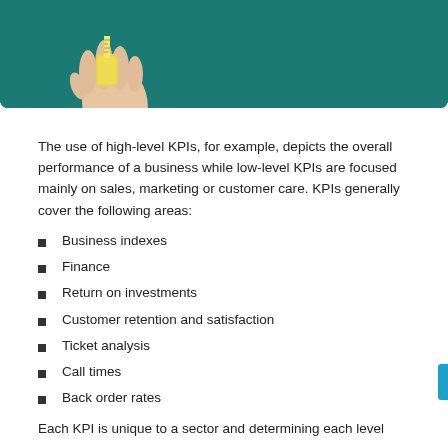[Figure (photo): Photo of a person's hands holding a measuring tape against a teal/green chalkboard background. Only the hands and tape are visible at the bottom of the image.]
The use of high-level KPIs, for example, depicts the overall performance of a business while low-level KPIs are focused mainly on sales, marketing or customer care. KPIs generally cover the following areas:
Business indexes
Finance
Return on investments
Customer retention and satisfaction
Ticket analysis
Call times
Back order rates
Each KPI is unique to a sector and determining each level